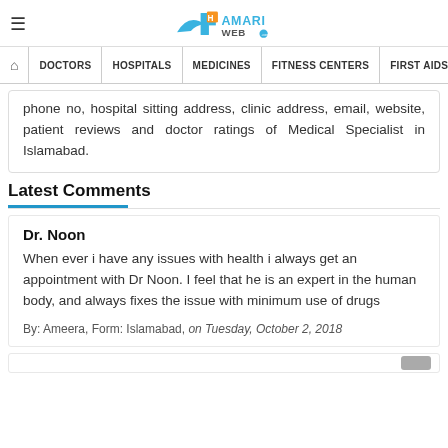HamariWeb
DOCTORS | HOSPITALS | MEDICINES | FITNESS CENTERS | FIRST AIDS | BLOOD
phone no, hospital sitting address, clinic address, email, website, patient reviews and doctor ratings of Medical Specialist in Islamabad.
Latest Comments
Dr. Noon
When ever i have any issues with health i always get an appointment with Dr Noon. I feel that he is an expert in the human body, and always fixes the issue with minimum use of drugs
By: Ameera, Form: Islamabad, on Tuesday, October 2, 2018